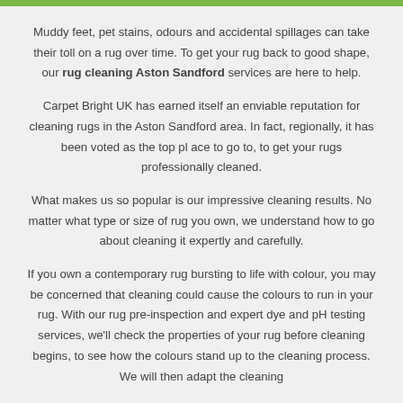Muddy feet, pet stains, odours and accidental spillages can take their toll on a rug over time. To get your rug back to good shape, our rug cleaning Aston Sandford services are here to help.
Carpet Bright UK has earned itself an enviable reputation for cleaning rugs in the Aston Sandford area. In fact, regionally, it has been voted as the top pl ace to go to, to get your rugs professionally cleaned.
What makes us so popular is our impressive cleaning results. No matter what type or size of rug you own, we understand how to go about cleaning it expertly and carefully.
If you own a contemporary rug bursting to life with colour, you may be concerned that cleaning could cause the colours to run in your rug. With our rug pre-inspection and expert dye and pH testing services, we'll check the properties of your rug before cleaning begins, to see how the colours stand up to the cleaning process. We will then adapt the cleaning